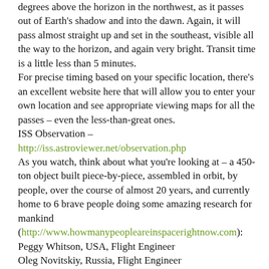degrees above the horizon in the northwest, as it passes out of Earth's shadow and into the dawn.  Again, it will pass almost straight up and set in the southeast, visible all the way to the horizon, and again very bright.  Transit time is a little less than 5 minutes.
For precise timing based on your specific location, there's an excellent website here that will allow you to enter your own location and see appropriate viewing maps for all the passes – even the less-than-great ones.
ISS Observation – http://iss.astroviewer.net/observation.php
As you watch, think about what you're looking at – a 450-ton object built piece-by-piece, assembled in orbit, by people, over the course of almost 20 years, and currently home to 6 brave people doing some amazing research for mankind (http://www.howmanypeopleareinspacerightnow.com):
Peggy Whitson, USA, Flight Engineer
Oleg Novitskiy, Russia, Flight Engineer
Thomas Pesquet, France, Flight Engineer
Andrei Borisenko, Russia, Flight Engineer
Sergei Ryzhikov, Russia, Flight Engineer
Shane Kimbrough, USA, Commander
You can almost imagine them waving back at you...